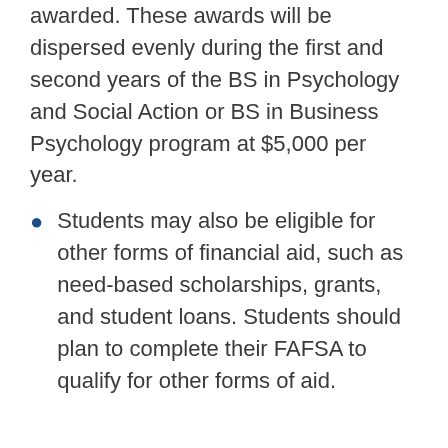awarded. These awards will be dispersed evenly during the first and second years of the BS in Psychology and Social Action or BS in Business Psychology program at $5,000 per year.
Students may also be eligible for other forms of financial aid, such as need-based scholarships, grants, and student loans. Students should plan to complete their FAFSA to qualify for other forms of aid.
Application
Interested students should complete